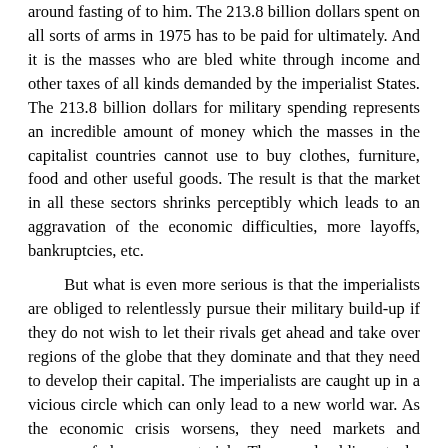around fasting of to him. The 213.8 billion dollars spent on all sorts of arms in 1975 has to be paid for ultimately. And it is the masses who are bled white through income and other taxes of all kinds demanded by the imperialist States. The 213.8 billion dollars for military spending represents an incredible amount of money which the masses in the capitalist countries cannot use to buy clothes, furniture, food and other useful goods. The result is that the market in all these sectors shrinks perceptibly which leads to an aggravation of the economic difficulties, more layoffs, bankruptcies, etc.
But what is even more serious is that the imperialists are obliged to relentlessly pursue their military build-up if they do not wish to let their rivals get ahead and take over regions of the globe that they dominate and that they need to develop their capital. The imperialists are caught up in a vicious circle which can only lead to a new world war. As the economic crisis worsens, they need markets and sources of cheap raw materials. They need soldiers, tanks and planes to conquer them and keep them, and that costs more and more, and accentuates the economic crisis. How long can this go on?
In late 1960's, the economies of the imperialist countries began to fall apart. Several factors explain this evolution. Once again there was greater and greater contention between a certain